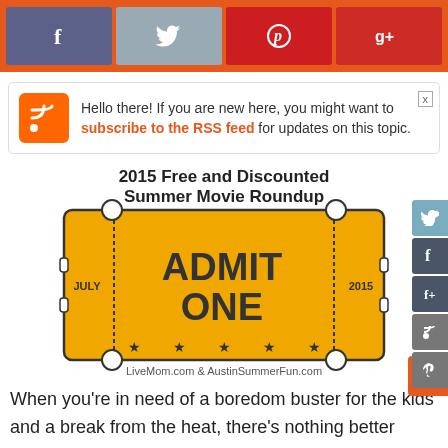[Figure (other): Social media share bar with Facebook, Twitter, Pinterest, and Google+ buttons on orange background]
Hello there! If you are new here, you might want to subscribe to the RSS feed for updates on this topic.
[Figure (infographic): 2015 Free and Discounted Summer Movie Roundup - Admit One ticket graphic with JULY 2015, LiveMom.com & AustinSummerFun.com]
When you're in need of a boredom buster for the kids and a break from the heat, there's nothing better cooling down in a movie theater with some popcorn and some laughs. Even